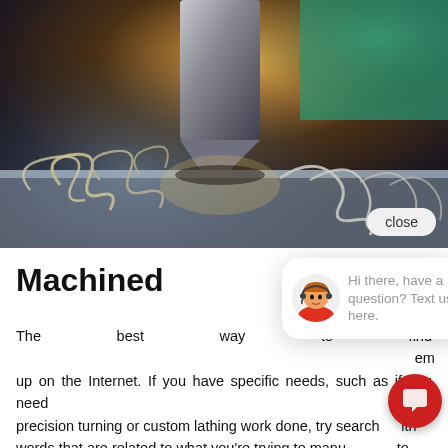[Figure (photo): Close-up photograph of a metal machining/lathe operation showing metal shavings/swarf curling off a workpiece with warm golden lighting]
Machine
The best way to find [something] em up on the Internet. If you have specific needs, such as if you need precision turning or custom lathing work done, try search with words that are related to what you're trying to manu to narrow down your list of results. For example, a search for
[Figure (illustration): Chat popup overlay with customer service avatar and text: Hi there, have a question? Text us here.]
[Figure (illustration): Red circular chat button icon with speech bubble symbol]